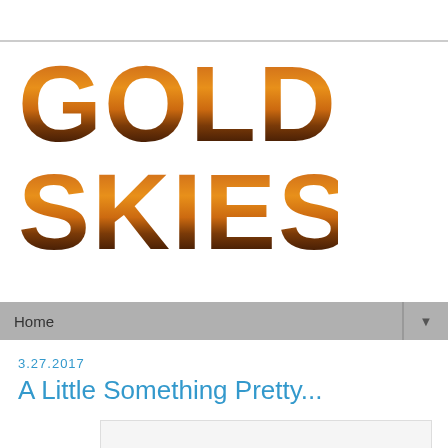[Figure (logo): Golden Skies blog logo with large bold text 'GOLDEN SKIES' styled with a golden/amber sunset color gradient and dark silhouette texture]
Home ▼
3.27.2017
A Little Something Pretty...
[Figure (photo): Partially visible photograph, mostly white/blank area at bottom of page]